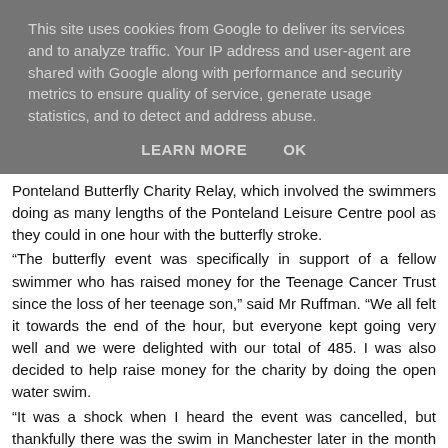This site uses cookies from Google to deliver its services and to analyze traffic. Your IP address and user-agent are shared with Google along with performance and security metrics to ensure quality of service, generate usage statistics, and to detect and address abuse.
LEARN MORE    OK
Ponteland Butterfly Charity Relay, which involved the swimmers doing as many lengths of the Ponteland Leisure Centre pool as they could in one hour with the butterfly stroke.
“The butterfly event was specifically in support of a fellow swimmer who has raised money for the Teenage Cancer Trust since the loss of her teenage son,” said Mr Ruffman. “We all felt it towards the end of the hour, but everyone kept going very well and we were delighted with our total of 485. I was also decided to help raise money for the charity by doing the open water swim.
“It was a shock when I heard the event was cancelled, but thankfully there was the swim in Manchester later in the month to do instead.”